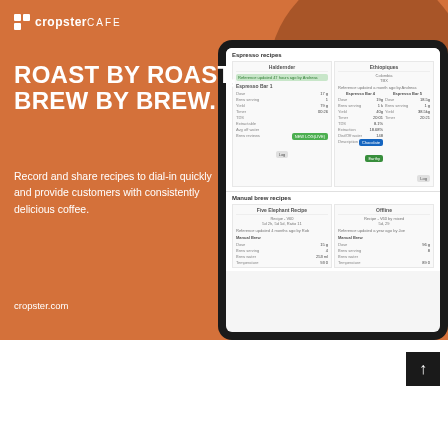[Figure (screenshot): Cropster CAFE advertisement with orange background, brown blob decorations, tablet mockup showing espresso recipe app]
ROAST BY ROAST, BREW BY BREW.
Record and share recipes to dial-in quickly and provide customers with consistently delicious coffee.
cropster.com
[Figure (screenshot): The New York Coffee partial logo/advertisement at bottom, black and blue sections]
[Figure (other): Navigation arrow button pointing up, dark background]